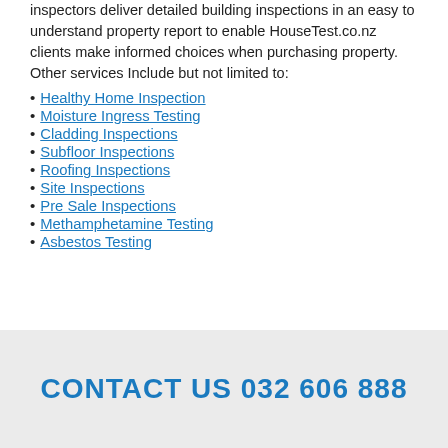inspectors deliver detailed building inspections in an easy to understand property report to enable HouseTest.co.nz clients make informed choices when purchasing property. Other services Include but not limited to:
Healthy Home Inspection
Moisture Ingress Testing
Cladding Inspections
Subfloor Inspections
Roofing Inspections
Site Inspections
Pre Sale Inspections
Methamphetamine Testing
Asbestos Testing
CONTACT US 032 606 888